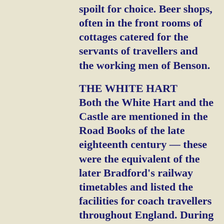spoilt for choice. Beer shops, often in the front rooms of cottages catered for the servants of travellers and the working men of Benson.
THE WHITE HART
Both the White Hart and the Castle are mentioned in the Road Books of the late eighteenth century — these were the equivalent of the later Bradford's railway timetables and listed the facilities for coach travellers throughout England. During the coaching era the Shrubb family were the innkeepers of the White Hart. The photograph was taken in